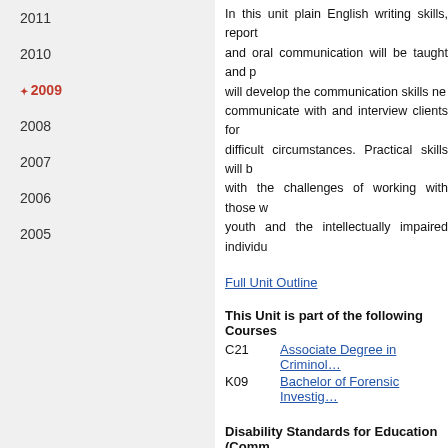2011
2010
2009
2008
2007
2006
2005
In this unit plain English writing skills, report and oral communication will be taught and p… will develop the communication skills ne… communicate with and interview clients for… difficult circumstances. Practical skills will b… with the challenges of working with those w… youth and the intellectually impaired individu…
Full Unit Outline
This Unit is part of the following Courses
C21   Associate Degree in Criminol…
K09   Bachelor of Forensic Investig…
Disability Standards for Education (Comm…
For the purposes of considering a reques… (Commonwealth 2005), inherent requireme… Graduate Attributes and Assessment Requ… with special requirements. Further details o… the Student Equity, Diversity and Disability S…